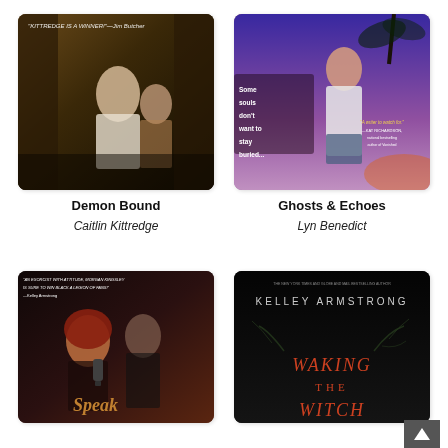[Figure (photo): Book cover for 'Demon Bound' showing a man and woman in a dark alley with quote 'KITTREDGE IS A WINNER!' —Jim Butcher]
[Figure (photo): Book cover for 'Ghosts & Echoes' showing a woman in white tank top with text 'Some souls don't want to stay buried...' and quote 'A writer to watch for.' —KAT RICHARDSON]
Demon Bound
Ghosts & Echoes
Caitlin Kittredge
Lyn Benedict
[Figure (photo): Book cover for 'Speak' with text 'AN EXORCIST WITH ATTITUDE, MORGAN KINGSLEY IS SURE TO WIN BLACK A LEGION OF FANS!' —Kelley Armstrong]
[Figure (photo): Book cover for 'Waking the Witch' by Kelley Armstrong, with dark background and text 'THE NEW YORK TIMES AND GLOBE AND MAIL BESTSELLING AUTHOR KELLEY ARMSTRONG WAKING THE WITCH']